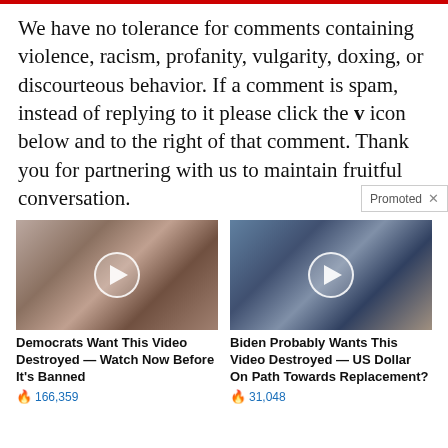We have no tolerance for comments containing violence, racism, profanity, vulgarity, doxing, or discourteous behavior. If a comment is spam, instead of replying to it please click the v icon below and to the right of that comment. Thank you for partnering with us to maintain fruitful conversation.
[Figure (photo): Thumbnail photo of two people, with a circular play button overlay. Caption: Democrats Want This Video Destroyed — Watch Now Before It's Banned. Views: 166,359]
[Figure (photo): Thumbnail photo of people in a TV studio setting with NYSE sign, with a circular play button overlay. Caption: Biden Probably Wants This Video Destroyed — US Dollar On Path Towards Replacement? Views: 31,048]